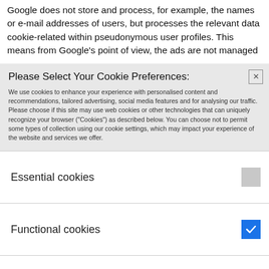Google does not store and process, for example, the names or e-mail addresses of users, but processes the relevant data cookie-related within pseudonymous user profiles. This means from Google's point of view, the ads are not managed
Please Select Your Cookie Preferences:
We use cookies to enhance your experience with personalised content and recommendations, tailored advertising, social media features and for analysing our traffic. Please choose if this site may use web cookies or other technologies that can uniquely recognize your browser ("Cookies") as described below. You can choose not to permit some types of collection using our cookie settings, which may impact your experience of the website and services we offer.
Essential cookies
Functional cookies
Advertising / Third-party cookies